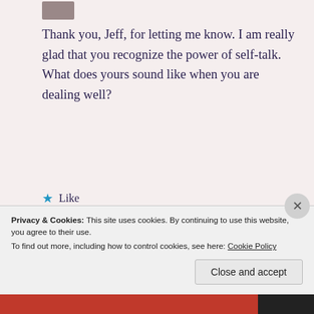[Figure (photo): Small avatar/profile photo at top left, partially visible]
Thank you, Jeff, for letting me know. I am really glad that you recognize the power of self-talk. What does yours sound like when you are dealing well?
★ Like
Log in to Reply
[Figure (photo): Profile photo of weavergrace user]
weavergrace
Privacy & Cookies: This site uses cookies. By continuing to use this website, you agree to their use.
To find out more, including how to control cookies, see here: Cookie Policy
Close and accept